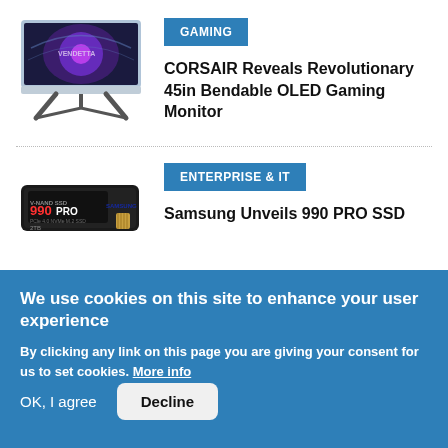[Figure (photo): CORSAIR 45in Bendable OLED Gaming Monitor with curved stand]
GAMING
CORSAIR Reveals Revolutionary 45in Bendable OLED Gaming Monitor
[Figure (photo): Samsung 990 PRO SSD M.2 NVMe drive]
ENTERPRISE & IT
Samsung Unveils 990 PRO SSD
We use cookies on this site to enhance your user experience
By clicking any link on this page you are giving your consent for us to set cookies. More info
OK, I agree
Decline